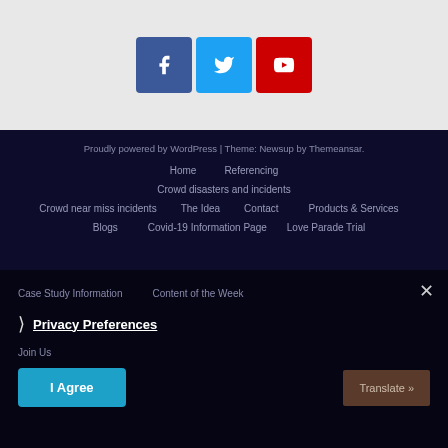[Figure (other): Social media icon buttons: Facebook (blue square), Twitter (cyan square), YouTube (red square)]
Proudly powered by WordPress | Theme: Newsup by Themeansar.
Home
Referencing
Crowd disasters and incidents
Crowd near miss incidents
The Idea
Contact
Products & Services
Blogs
Covid-19 Information Page
Love Parade Trial
Case Study Information
Content of the Week
Join Us
Privacy Preferences
I Agree
Translate »